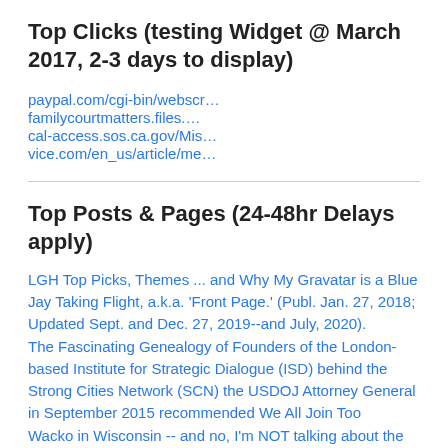Top Clicks (testing Widget @ March 2017, 2-3 days to display)
paypal.com/cgi-bin/webscr…
familycourtmatters.files.…
cal-access.sos.ca.gov/Mis…
vice.com/en_us/article/me…
Top Posts & Pages (24-48hr Delays apply)
LGH Top Picks, Themes ... and Why My Gravatar is a Blue Jay Taking Flight, a.k.a. 'Front Page.' (Publ. Jan. 27, 2018; Updated Sept. and Dec. 27, 2019--and July, 2020).
The Fascinating Genealogy of Founders of the London-based Institute for Strategic Dialogue (ISD) behind the Strong Cities Network (SCN) the USDOJ Attorney General in September 2015 recommended We All Join Too
Wacko in Wisconsin -- and no, I'm NOT talking about the Parents/Litigants (published 9/15/2010, updated 7/21/2017)